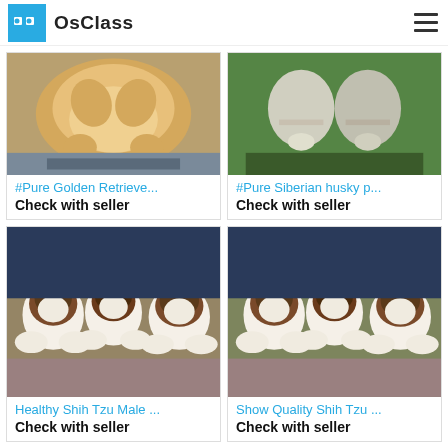OsClass
[Figure (photo): Golden retriever puppy being held, belly up, fluffy golden fur]
#Pure Golden Retrieve...
Check with seller
[Figure (photo): Siberian husky puppy paws being held, green leafy background]
#Pure Siberian husky p...
Check with seller
[Figure (photo): Three Shih Tzu puppies with brown and white markings being held by a person]
Healthy Shih Tzu Male ...
Check with seller
[Figure (photo): Three Shih Tzu puppies with brown and white markings being held by a person]
Show Quality Shih Tzu ...
Check with seller